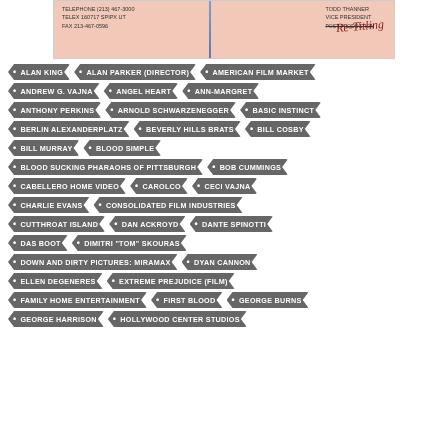[Figure (photo): Scanned business card or document fragment showing telephone/telex/fax info on left, Todd Thanner Vice President Post Production on right, with handwritten 'Re-Titling' in red cursive and a blue diagonal line]
ALAN KING
ALAN PARKER (DIRECTOR)
AMERICAN FILM MARKET
ANDREW G. VAJNA
ANGEL HEART
ANN-MARGRET
ANTHONY PERKINS
ARNOLD SCHWARZENEGGER
BASIC INSTINCT
BERLIN ALEXANDERPLATZ
BEVERLY HILLS BRATS
BILL COSBY
BILL MURRAY
BLOOD SIMPLE
BLOOD SUCKING PHARAOHS OF PITTSBURGH
BOB CUMMINGS
CABELLERO HOME VIDEO
CAROLCO
CECI VAJNA
CHARLIE EVANS
CONSOLIDATED FILM INDUSTRIES
CUTTHROAT ISLAND
DAN ACKROYD
DANTE SPINOTTI
DAS BOOT
DIMITRI "TOM" SKOURAS
DOWN AND DIRTY PICTURES: MIRAMAX
DYAN CANNON
ELLEN DEGENERES
EXTREME PREJUDICE (FILM)
FAMILY HOME ENTERTAINMENT
FIRST BLOOD
GEORGE BURNS
GEORGE HARRISON
HOLLYWOOD CENTER STUDIOS